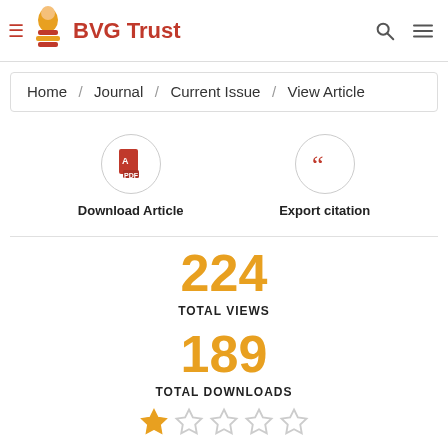BVG Trust — Home / Journal / Current Issue / View Article
Home / Journal / Current Issue / View Article
Download Article
Export citation
224
TOTAL VIEWS
189
TOTAL DOWNLOADS